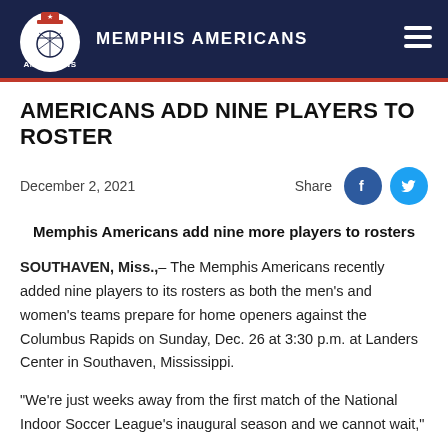MEMPHIS AMERICANS
AMERICANS ADD NINE PLAYERS TO ROSTER
December 2, 2021
Share
Memphis Americans add nine more players to rosters
SOUTHAVEN, Miss.,– The Memphis Americans recently added nine players to its rosters as both the men's and women's teams prepare for home openers against the Columbus Rapids on Sunday, Dec. 26 at 3:30 p.m. at Landers Center in Southaven, Mississippi.
"We're just weeks away from the first match of the National Indoor Soccer League's inaugural season and we cannot wait,"